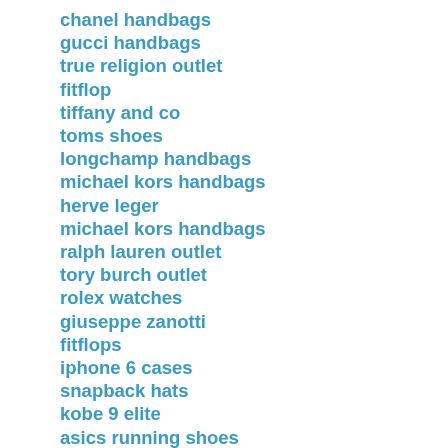chanel handbags
gucci handbags
true religion outlet
fitflop
tiffany and co
toms shoes
longchamp handbags
michael kors handbags
herve leger
michael kors handbags
ralph lauren outlet
tory burch outlet
rolex watches
giuseppe zanotti
fitflops
iphone 6 cases
snapback hats
kobe 9 elite
asics running shoes
coach factory outlet
air jordan shoes
hollister clothing store